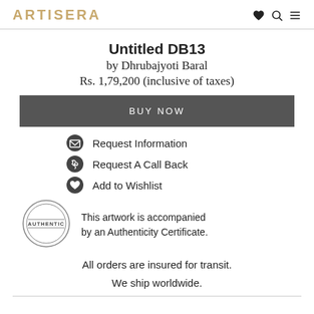ARTISERA
Untitled DB13
by Dhrubajyoti Baral
Rs. 1,79,200 (inclusive of taxes)
BUY NOW
Request Information
Request A Call Back
Add to Wishlist
This artwork is accompanied by an Authenticity Certificate.
All orders are insured for transit. We ship worldwide.